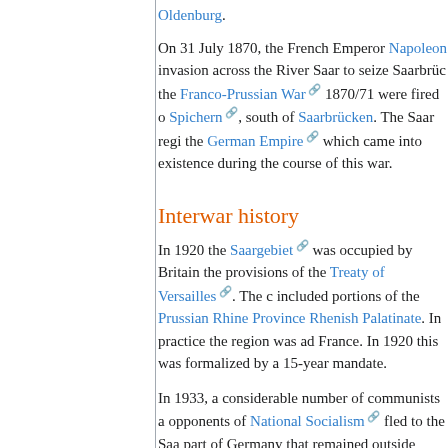Oldenburg.
On 31 July 1870, the French Emperor Napoleon invasion across the River Saar to seize Saarbrü the Franco-Prussian War 1870/71 were fired o Spichern, south of Saarbrücken. The Saar regi the German Empire which came into existence during the course of this war.
Interwar history
In 1920 the Saargebiet was occupied by Britain the provisions of the Treaty of Versailles. The c included portions of the Prussian Rhine Province Rhenish Palatinate. In practice the region was ad France. In 1920 this was formalized by a 15-year mandate.
In 1933, a considerable number of communists a opponents of National Socialism fled to the Saa part of Germany that remained outside national a following the First World War. As a result, anti-Na the Saarland to remain under French administrati most of the population being ethnically German, s considered suspect or even treasonous, and ther